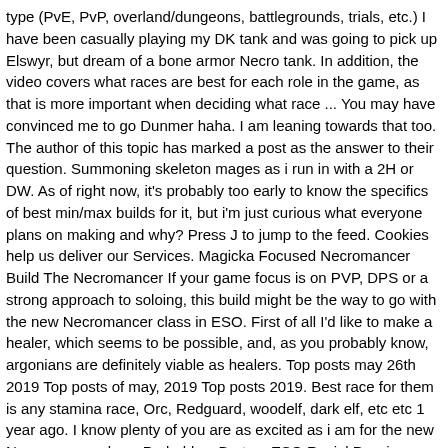type (PvE, PvP, overland/dungeons, battlegrounds, trials, etc.) I have been casually playing my DK tank and was going to pick up Elswyr, but dream of a bone armor Necro tank. In addition, the video covers what races are best for each role in the game, as that is more important when deciding what race ... You may have convinced me to go Dunmer haha. I am leaning towards that too. The author of this topic has marked a post as the answer to their question. Summoning skeleton mages as i run in with a 2H or DW. As of right now, it's probably too early to know the specifics of best min/max builds for it, but i'm just curious what everyone plans on making and why? Press J to jump to the feed. Cookies help us deliver our Services. Magicka Focused Necromancer Build The Necromancer If your game focus is on PVP, DPS or a strong approach to soloing, this build might be the way to go with the new Necromancer class in ESO. First of all I'd like to make a healer, which seems to be possible, and, as you probably know, argonians are definitely viable as healers. Top posts may 26th 2019 Top posts of may, 2019 Top posts 2019. Best race for them is any stamina race, Orc, Redguard, woodelf, dark elf, etc etc 1 year ago. I know plenty of you are as excited as i am for the new Necromancer class. Probably a Breton. ESO Racial Passives Guide and Best Race for Each Role This video is a complete guide to racial passives in the Elder Scrolls Online Wrathstone patch. Best race for them is any stamina race, Orc, Redguard, woodelf, dark elf, etc etc Those that I chose here are the priority. That sounds fun. That being said, stamcro can definitely, it is, it would, it's the, or even, or are, or can, or even,